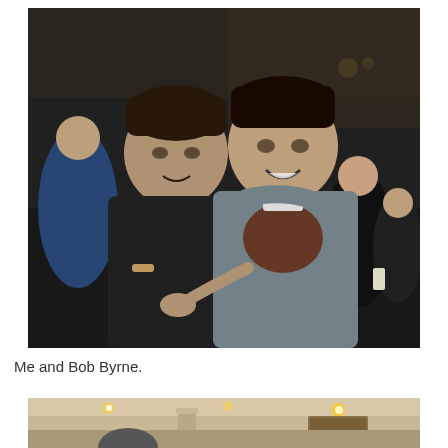[Figure (photo): Two young men posing together outdoors at night. The man on the left wears a dark hoodie and points at the man on the right. The man on the right wears a grey jacket over a brown shirt and has his arm around the man on the left. There are other people visible in the background along with street lights and buildings.]
Me and Bob Byrne.
[Figure (photo): Partial view of an indoor scene, showing ceiling lights and interior decor of what appears to be a pub or restaurant.]